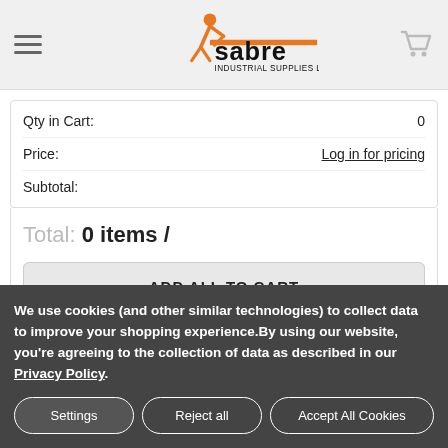Sabre Industrial Supplies Ltd. - navigation header with logo and cart
Qty in Cart: 0
Price: Log in for pricing
Subtotal:
Total: 0 items /
ADD ALL TO CART
We use cookies (and other similar technologies) to collect data to improve your shopping experience.By using our website, you're agreeing to the collection of data as described in our Privacy Policy.
Settings
Reject all
Accept All Cookies